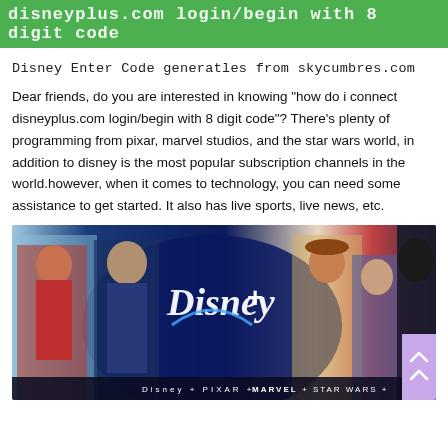disneyplus.com login/begin with 8 digit code
Disney Enter Code generatles from skycumbres.com
Dear friends, do you are interested in knowing "how do i connect disneyplus.com login/begin with 8 digit code"? There's plenty of programming from pixar, marvel studios, and the star wars world, in addition to disney is the most popular subscription channels in the world.however, when it comes to technology, you can need some assistance to get started. It also has live sports, live news, etc.
[Figure (illustration): Disney+ promotional banner showing characters from Disney, Pixar, Marvel, Star Wars, and National Geographic including Moana, Thor, Woody, Buzz Lightyear, and Darth Vader with the Disney+ logo and tagline 'Disney + Pixar + Marvel + Star Wars + National Geographic']